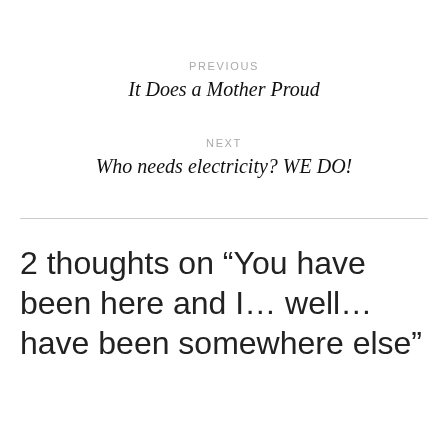PREVIOUS
It Does a Mother Proud
NEXT
Who needs electricity? WE DO!
2 thoughts on “You have been here and I… well… have been somewhere else”